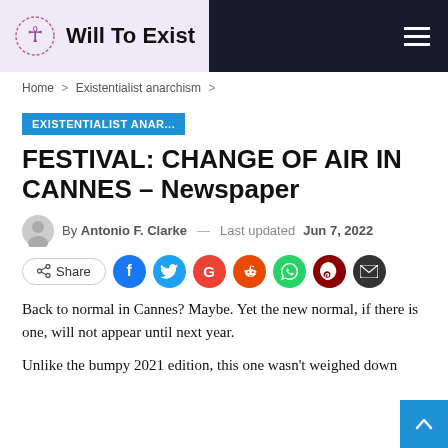Will To Exist
Home > Existentialist anarchism >
EXISTENTIALIST ANAR...
FESTIVAL: CHANGE OF AIR IN CANNES – Newspaper
By Antonio F. Clarke — Last updated Jun 7, 2022
Share
Back to normal in Cannes? Maybe. Yet the new normal, if there is one, will not appear until next year.
Unlike the bumpy 2021 edition, this one wasn't weighed down